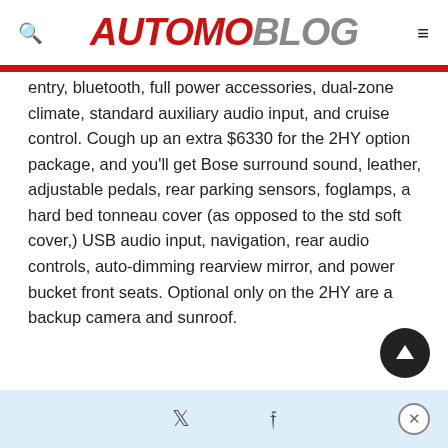AUTOMOBLOG
entry, bluetooth, full power accessories, dual-zone climate, standard auxiliary audio input, and cruise control. Cough up an extra $6330 for the 2HY option package, and you'll get Bose surround sound, leather, adjustable pedals, rear parking sensors, foglamps, a hard bed tonneau cover (as opposed to the std soft cover,) USB audio input, navigation, rear audio controls, auto-dimming rearview mirror, and power bucket front seats. Optional only on the 2HY are a backup camera and sunroof.